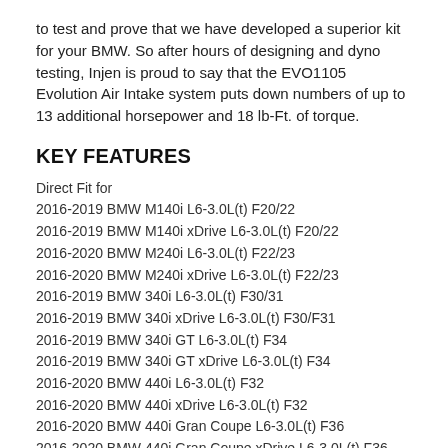to test and prove that we have developed a superior kit for your BMW. So after hours of designing and dyno testing, Injen is proud to say that the EVO1105 Evolution Air Intake system puts down numbers of up to 13 additional horsepower and 18 lb-Ft. of torque.
KEY FEATURES
Direct Fit for
2016-2019 BMW M140i L6-3.0L(t) F20/22
2016-2019 BMW M140i xDrive L6-3.0L(t) F20/22
2016-2020 BMW M240i L6-3.0L(t) F22/23
2016-2020 BMW M240i xDrive L6-3.0L(t) F22/23
2016-2019 BMW 340i L6-3.0L(t) F30/31
2016-2019 BMW 340i xDrive L6-3.0L(t) F30/F31
2016-2019 BMW 340i GT L6-3.0L(t) F34
2016-2019 BMW 340i GT xDrive L6-3.0L(t) F34
2016-2020 BMW 440i L6-3.0L(t) F32
2016-2020 BMW 440i xDrive L6-3.0L(t) F32
2016-2020 BMW 440i Gran Coupe L6-3.0L(t) F36
2016-2020 BMW 440i Gran Coupe xDrive L6-3.0L(t) F36
Dyno Proven gains of up to 13 hp and 18 lb-ft. of torque
Designed to work with the stock calibration